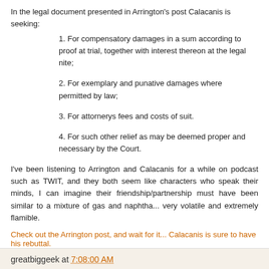In the legal document presented in Arrington's post Calacanis is seeking:
1. For compensatory damages in a sum according to proof at trial, together with interest thereon at the legal nite;
2. For exemplary and punative damages where permitted by law;
3. For attornerys fees and costs of suit.
4. For such other relief as may be deemed proper and necessary by the Court.
I've been listening to Arrington and Calacanis for a while on podcast such as TWIT, and they both seem like characters who speak their minds, I can imagine their friendship/partnership must have been similar to a mixture of gas and naphtha... very volatile and extremely flamible.
Check out the Arrington post, and wait for it... Calacanis is sure to have his rebuttal.
greatbiggeek at 7:08:00 AM